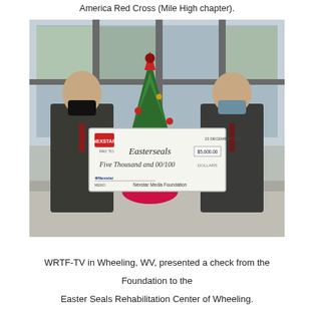America Red Cross (Mile High chapter).
[Figure (photo): Two men wearing face masks holding a large ceremonial check from Nexstar Media Foundation made out to Easterseals for Five Thousand and 00/100 dollars, standing in front of a decorated Christmas tree indoors.]
WRTF-TV in Wheeling, WV, presented a check from the Foundation to the Easter Seals Rehabilitation Center of Wheeling.